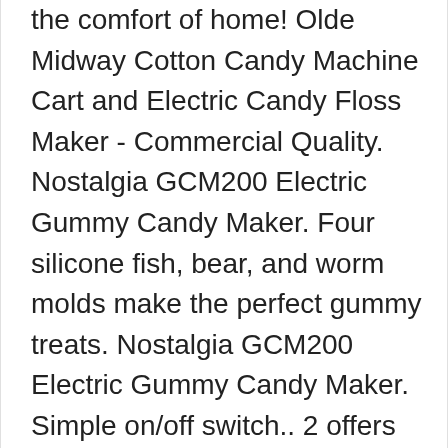the comfort of home! Olde Midway Cotton Candy Machine Cart and Electric Candy Floss Maker - Commercial Quality. Nostalgia GCM200 Electric Gummy Candy Maker. Four silicone fish, bear, and worm molds make the perfect gummy treats. Nostalgia GCM200 Electric Gummy Candy Maker. Simple on/off switch.. 2 offers from CDN$77.48. Good news — You can still get free 2-day shipping, free pickup, & more. Item# 195-7506246-AF | Sold by Macys.com a SYW Online store (1 Ratings) More. Upgraded NutriChef Gummy Candy Maker, Electric Candy Maker, Includes 4 Candy Molds, Shaped Candy Reusable, Dishwasher Safe, Electric Plug, Perfect For Party Favors for Kids, Snacks, … We're having technical issues, but we'll be back in a flash. 80 $29.80 $ 29. The Nostalgia Electrics Gummy Candy Maker allows you to make worm, fish, and small gummy bear candies with the included silicone